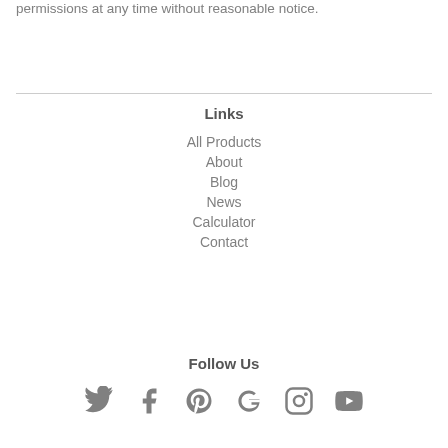permissions at any time without reasonable notice.
Links
All Products
About
Blog
News
Calculator
Contact
Follow Us
[Figure (infographic): Social media icons: Twitter, Facebook, Pinterest, Google+, Instagram, YouTube]